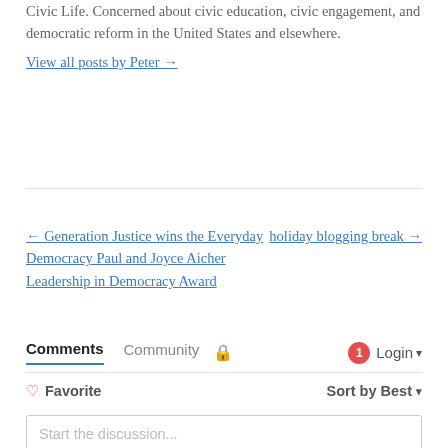Civic Life. Concerned about civic education, civic engagement, and democratic reform in the United States and elsewhere.
View all posts by Peter →
← Generation Justice wins the Everyday Democracy Paul and Joyce Aicher Leadership in Democracy Award
holiday blogging break →
Comments  Community  Login
♡ Favorite   Sort by Best
Start the discussion...
LOG IN WITH